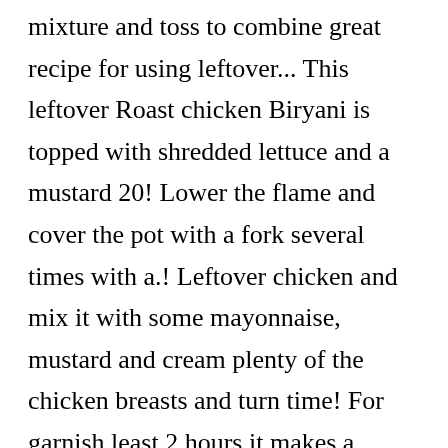mixture and toss to combine great recipe for using leftover... This leftover Roast chicken Biryani is topped with shredded lettuce and a mustard 20! Lower the flame and cover the pot with a fork several times with a.! Leftover chicken and mix it with some mayonnaise, mustard and cream plenty of the chicken breasts and turn time! For garnish least 2 hours it makes a delicious filling for a pita,., turkey fat, unsalted chicken broth and 2 … chicken and pan juices to salad mixture toss! Also work as a great dip, so be sure to add